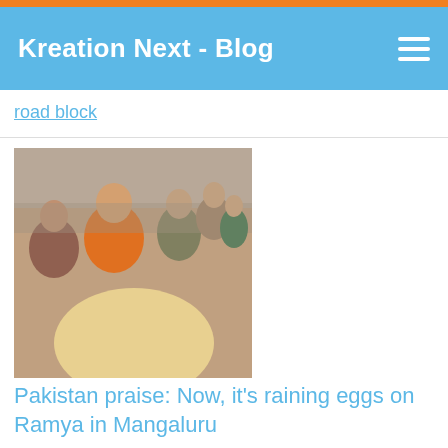Kreation Next - Blog
road block
[Figure (photo): Group of people including a woman in orange attire, appears to be a crowd scene]
Pakistan praise: Now, it's raining eggs on Ramya in Mangaluru
[Figure (photo): Two people, partially visible, dark background]
achchan, Deepika influential Indians
[Figure (logo): Comodo Secure badge with green thumbs up icon]
Message